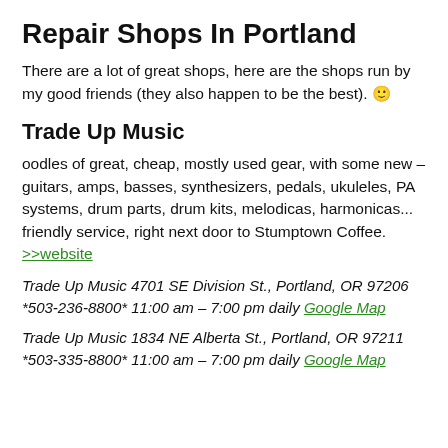Repair Shops In Portland
There are a lot of great shops, here are the shops run by my good friends (they also happen to be the best). 🙂
Trade Up Music
oodles of great, cheap, mostly used gear, with some new – guitars, amps, basses, synthesizers, pedals, ukuleles, PA systems, drum parts, drum kits, melodicas, harmonicas... friendly service, right next door to Stumptown Coffee. >>website
Trade Up Music 4701 SE Division St., Portland, OR 97206  *503-236-8800* 11:00 am – 7:00 pm daily Google Map
Trade Up Music 1834 NE Alberta St., Portland, OR 97211 *503-335-8800* 11:00 am – 7:00 pm daily Google Map